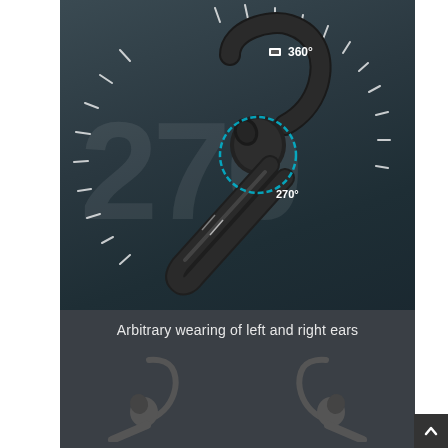[Figure (photo): Product marketing image of a Bluetooth earpiece/headset shown on dark teal background. Large watermark '270' in background. White tick marks arranged in a semi-circular radial pattern around the earphone. A cyan/blue circle highlights the earbud portion with '270°' label. A small rotation icon at top with '360°' label indicates the earphone can rotate 360 degrees. The earphone itself is black with a curved ear hook and elongated stem.]
[Figure (photo): Bottom panel on dark gray background showing text 'Arbitrary wearing of left and right ears' with two silhouette illustrations below: left shows the earphone worn on left ear, right shows it worn on right ear.]